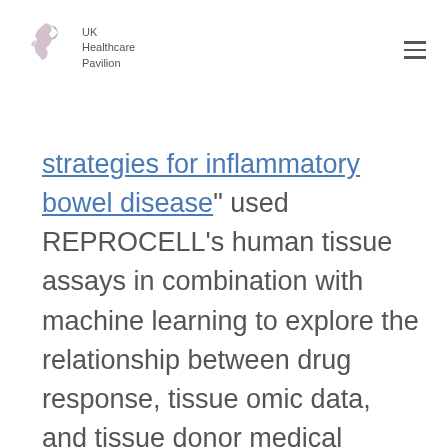UK Healthcare Pavilion
strategies for inflammatory bowel disease" used REPROCELL's human tissue assays in combination with machine learning to explore the relationship between drug response, tissue omic data, and tissue donor medical information. Ex vivo models using inflammatory bowel disease (IBD) tissues were